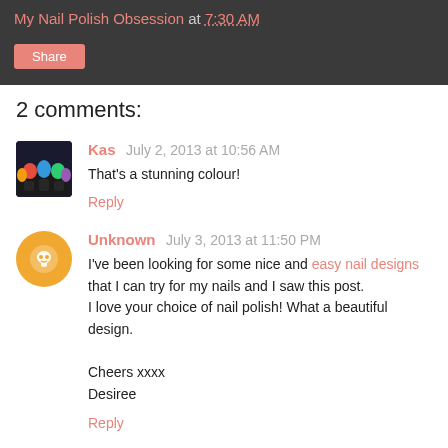My Nail Polish Obsession at 7:30 AM
Share
2 comments:
Kas July 2, 2013 at 10:56 AM
That's a stunning colour!
Reply
Unknown July 3, 2013 at 11:50 PM
I've been looking for some nice and easy nail designs that I can try for my nails and I saw this post.
I love your choice of nail polish! What a beautiful design.

Cheers xxxx
Desiree
Reply